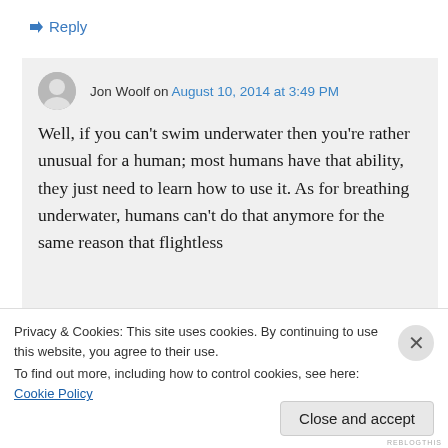↳ Reply
Jon Woolf on August 10, 2014 at 3:49 PM
Well, if you can't swim underwater then you're rather unusual for a human; most humans have that ability, they just need to learn how to use it. As for breathing underwater, humans can't do that anymore for the same reason that flightless
Privacy & Cookies: This site uses cookies. By continuing to use this website, you agree to their use.
To find out more, including how to control cookies, see here: Cookie Policy
Close and accept